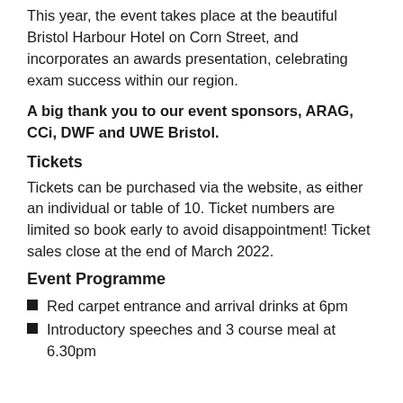This year, the event takes place at the beautiful Bristol Harbour Hotel on Corn Street, and incorporates an awards presentation, celebrating exam success within our region.
A big thank you to our event sponsors, ARAG, CCi, DWF and UWE Bristol.
Tickets
Tickets can be purchased via the website, as either an individual or table of 10. Ticket numbers are limited so book early to avoid disappointment! Ticket sales close at the end of March 2022.
Event Programme
Red carpet entrance and arrival drinks at 6pm
Introductory speeches and 3 course meal at 6.30pm